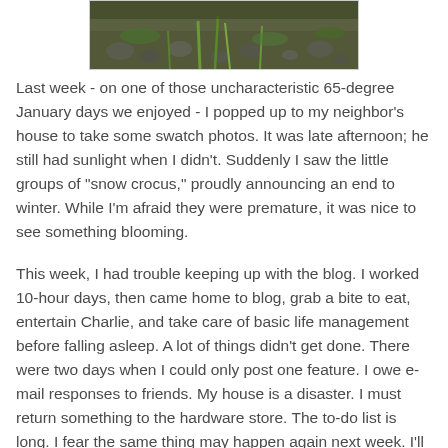[Figure (photo): Outdoor ground-level photo showing grass shoots, pebbles, and small crocus plants emerging from winter ground]
Last week - on one of those uncharacteristic 65-degree January days we enjoyed - I popped up to my neighbor's house to take some swatch photos. It was late afternoon; he still had sunlight when I didn't. Suddenly I saw the little groups of "snow crocus," proudly announcing an end to winter. While I'm afraid they were premature, it was nice to see something blooming.
This week, I had trouble keeping up with the blog. I worked 10-hour days, then came home to blog, grab a bite to eat, entertain Charlie, and take care of basic life management before falling asleep. A lot of things didn't get done. There were two days when I could only post one feature. I owe e-mail responses to friends. My house is a disaster. I must return something to the hardware store. The to-do list is long. I fear the same thing may happen again next week. I'll try to do a better job of keeping up.